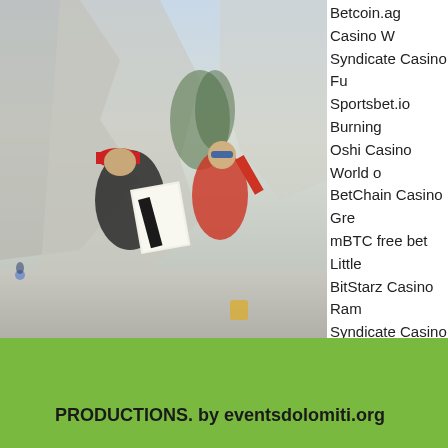[Figure (photo): Outdoor mountain scene with cyclists and people reviewing documents. A man in a red cap and dark jacket reads papers, another person in a red jacket and blue sunglasses stands nearby. Rocky mountain cliffs visible in background.]
Betcoin.ag Casino W...
Syndicate Casino Fu...
Sportsbet.io Burning...
Oshi Casino World o...
BetChain Casino Gre...
mBTC free bet Little ...
BitStarz Casino Ram...
Syndicate Casino Wo...
Vegas Crest Casino ...
Sportsbet.io Golden ...
Oshi Casino Watch t...
https://www.wakabao...
https://www.graobatis...
https://www.billingsm...
https://www.dancingp...
PRODUCTIONS. by eventsdolomiti.org